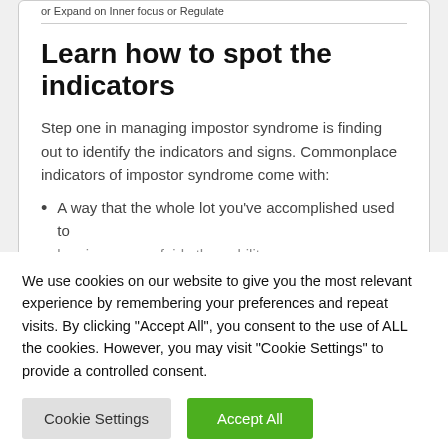or Expand on Inner focus or Regulate
Learn how to spot the indicators
Step one in managing impostor syndrome is finding out to identify the indicators and signs. Commonplace indicators of impostor syndrome come with:
A way that the whole lot you've accomplished used to be via success fairly than ability;
We use cookies on our website to give you the most relevant experience by remembering your preferences and repeat visits. By clicking "Accept All", you consent to the use of ALL the cookies. However, you may visit "Cookie Settings" to provide a controlled consent.